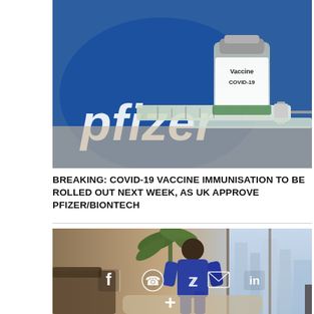[Figure (photo): Photo of a Pfizer COVID-19 vaccine vial and syringe in front of a blurred Pfizer logo on a blue background]
BREAKING: COVID-19 VACCINE IMMUNISATION TO BE ROLLED OUT NEXT WEEK, AS UK APPROVE PFIZER/BIONTECH
[Figure (photo): Photo of a man in a blue outfit sitting in a luxury hotel room, with social media sharing icons (Facebook, WhatsApp, Twitter, Email, LinkedIn, plus) overlaid]